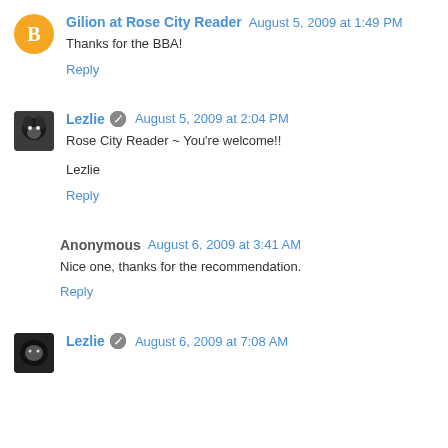Gilion at Rose City Reader  August 5, 2009 at 1:49 PM
Thanks for the BBA!
Reply
Lezlie  August 5, 2009 at 2:04 PM
Rose City Reader ~ You're welcome!!
Lezlie
Reply
Anonymous  August 6, 2009 at 3:41 AM
Nice one, thanks for the recommendation.
Reply
Lezlie  August 6, 2009 at 7:08 AM